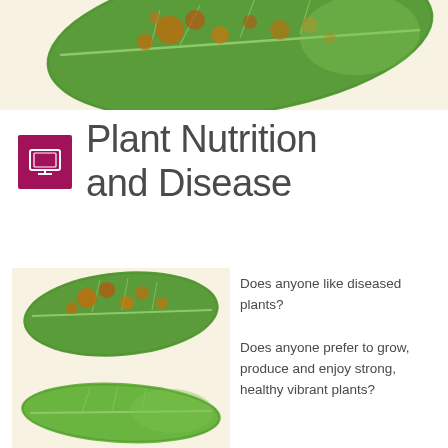[Figure (photo): Close-up of a diseased leaf with brown/rust spots on green background, partially visible at top of page]
Plant Nutrition and Disease
[Figure (photo): Two leaves: top one diseased with brown rust spots, bottom one healthy green leaf]
Does anyone like diseased plants?
Does anyone prefer to grow, produce and enjoy strong, healthy vibrant plants?